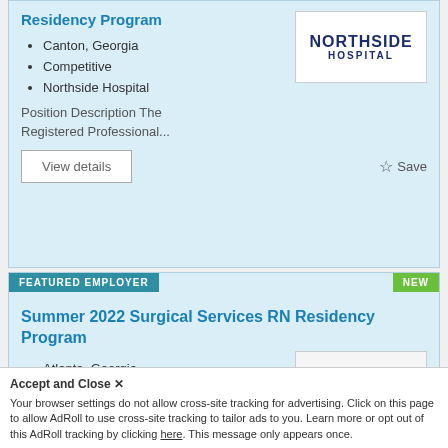Residency Program
Canton, Georgia
Competitive
Northside Hospital
[Figure (logo): Northside Hospital logo — bold dark navy text NORTHSIDE HOSPITAL on white background]
Position Description The Registered Professional...
View details
☆ Save
FEATURED EMPLOYER
NEW
Summer 2022 Surgical Services RN Residency Program
Atlanta, Georgia
Competitive
Northside Hospital
[Figure (logo): Northside Hospital logo partial — bold dark navy text NORTHSIDE HOSP on light background]
Accept and Close ✕
Your browser settings do not allow cross-site tracking for advertising. Click on this page to allow AdRoll to use cross-site tracking to tailor ads to you. Learn more or opt out of this AdRoll tracking by clicking here. This message only appears once.